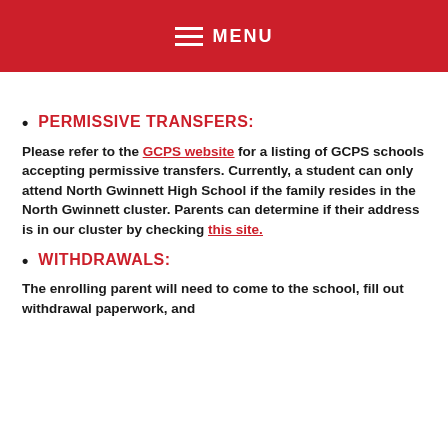MENU
PERMISSIVE TRANSFERS:
Please refer to the GCPS website for a listing of GCPS schools accepting permissive transfers. Currently, a student can only attend North Gwinnett High School if the family resides in the North Gwinnett cluster. Parents can determine if their address is in our cluster by checking this site.
WITHDRAWALS:
The enrolling parent will need to come to the school, fill out withdrawal paperwork, and